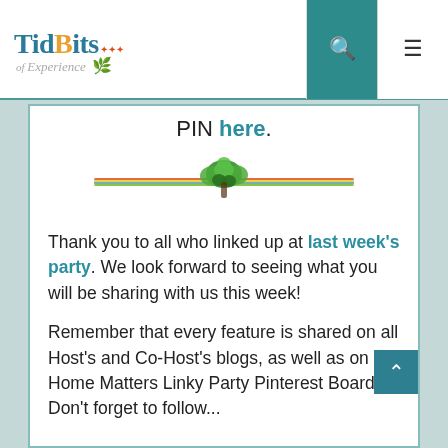TidBits of Experience — navigation header with search and menu icons
PIN here.
[Figure (illustration): Decorative horizontal divider with a colorful striped ribbon and green herb/leaf bundle in the center]
Thank you to all who linked up at last week's party. We look forward to seeing what you will be sharing with us this week!
Remember that every feature is shared on all Host's and Co-Host's blogs, as well as on the Home Matters Linky Party Pinterest Board! Don't forget to follow...